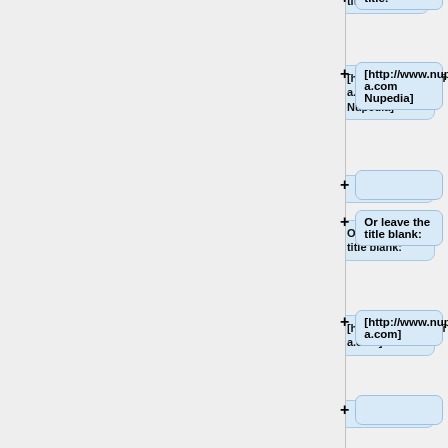title:
[http://www.nupedia.com Nupedia]
Or leave the title blank:
[http://www.nupedia.com]
External link can be used to link to a wiki page that
cannot be linked to with <nowiki> <nowiki>[[page]]</nowiki> </nowiki>:
http://meta.wikimedia.org/w/index.ph